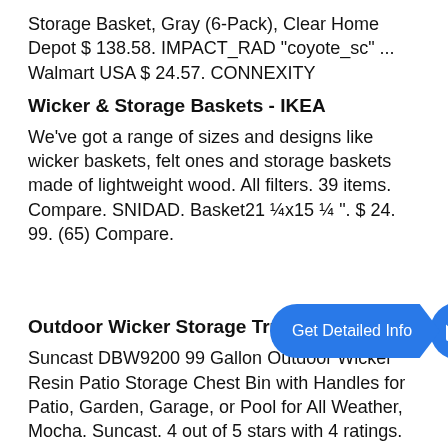Storage Basket, Gray (6-Pack), Clear Home Depot $ 138.58. IMPACT_RAD "coyote_sc" ... Walmart USA $ 24.57. CONNEXITY
Wicker & Storage Baskets - IKEA
We've got a range of sizes and designs like wicker baskets, felt ones and storage baskets made of lightweight wood. All filters. 39 items. Compare. SNIDAD. Basket21 ¼x15 ¼ ". $ 24. 99. (65) Compare.
[Figure (other): Blue 'Get Detailed Info' call-to-action button with arrow pointing to a blue circle containing an email/envelope icon]
Outdoor Wicker Storage Trunks : Target
Suncast DBW9200 99 Gallon Outdoor Wicker Resin Patio Storage Chest Bin with Handles for Patio, Garden, Garage, or Pool for All Weather, Mocha. Suncast. 4 out of 5 stars with 4 ratings. 4. $199.99. reg $303.99. Sale. Sold and shipped by Spreetail. a Target Plus™ partner.